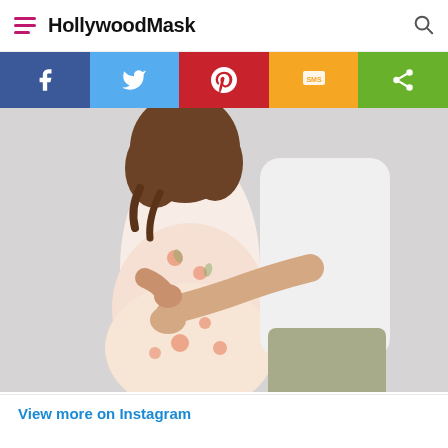HollywoodMask
[Figure (other): Social sharing bar with Facebook, Twitter, Pinterest, SMS, and Share buttons]
[Figure (photo): A couple embracing — a woman in a floral dress and a man in a white t-shirt and khaki pants, cropped at shoulders and knees, light gray background]
View more on Instagram